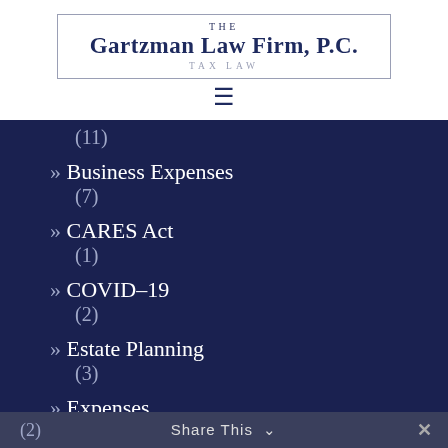[Figure (logo): The Gartzman Law Firm, P.C. Tax Law logo with rectangular border]
[Figure (other): Hamburger menu icon (three horizontal lines)]
(11)
» Business Expenses (7)
» CARES Act (1)
» COVID-19 (2)
» Estate Planning (3)
» Expenses (2)
Share This ∨  ✕